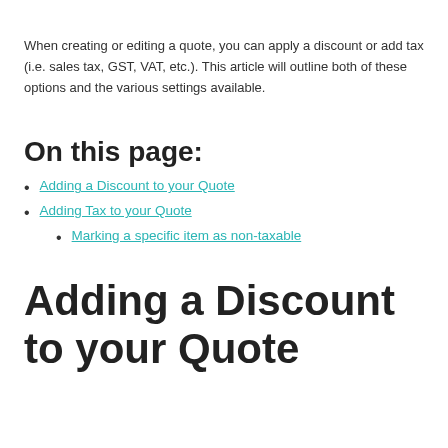When creating or editing a quote, you can apply a discount or add tax (i.e. sales tax, GST, VAT, etc.). This article will outline both of these options and the various settings available.
On this page:
Adding a Discount to your Quote
Adding Tax to your Quote
Marking a specific item as non-taxable
Adding a Discount to your Quote